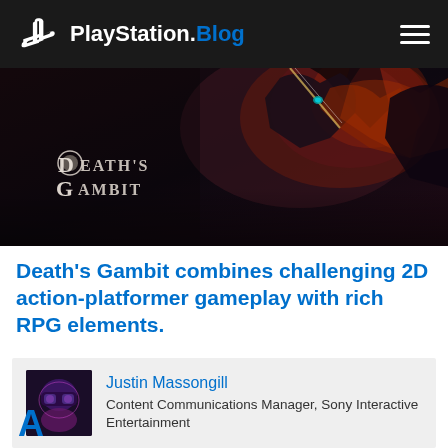PlayStation.Blog
[Figure (illustration): Death's Gambit game key art showing dark fantasy characters with the game logo 'Death's Gambit' in stylized white text on a dark action scene background]
Death's Gambit combines challenging 2D action-platformer gameplay with rich RPG elements.
Justin Massongill
Content Communications Manager, Sony Interactive Entertainment